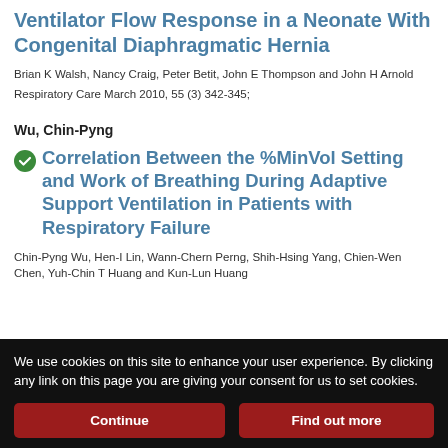Ventilator Flow Response in a Neonate With Congenital Diaphragmatic Hernia
Brian K Walsh, Nancy Craig, Peter Betit, John E Thompson and John H Arnold
Respiratory Care March 2010, 55 (3) 342-345;
Wu, Chin-Pyng
Correlation Between the %MinVol Setting and Work of Breathing During Adaptive Support Ventilation in Patients with Respiratory Failure
Chin-Pyng Wu, Hen-I Lin, Wann-Chern Perng, Shih-Hsing Yang, Chien-Wen Chen, Yuh-Chin T Huang and Kun-Lun Huang
We use cookies on this site to enhance your user experience. By clicking any link on this page you are giving your consent for us to set cookies.